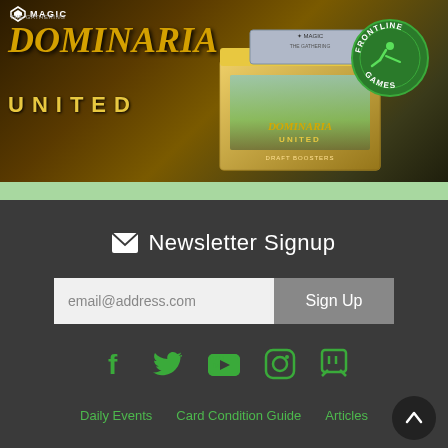[Figure (illustration): Magic: The Gathering Dominaria United promotional banner showing the game logo, a booster box, fantasy characters, and the Frontline Games store logo badge]
Newsletter Signup
email@address.com
Sign Up
[Figure (infographic): Social media icons row: Facebook, Twitter, YouTube, Instagram, Twitch — all in green]
Daily Events   Card Condition Guide   Articles